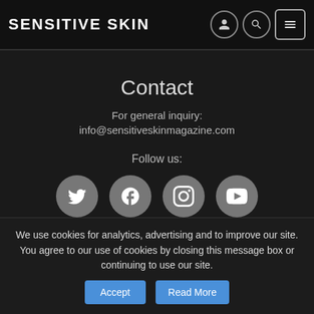Sensitive Skin
Contact
For general inquiry:
info@sensitiveskinmagazine.com
Follow us:
[Figure (illustration): Four social media icon buttons: Twitter, Facebook, Instagram, YouTube — circular gray buttons with white icons]
Home | About | Submissions
We use cookies for analytics, advertising and to improve our site. You agree to our use of cookies by closing this message box or continuing to use our site.